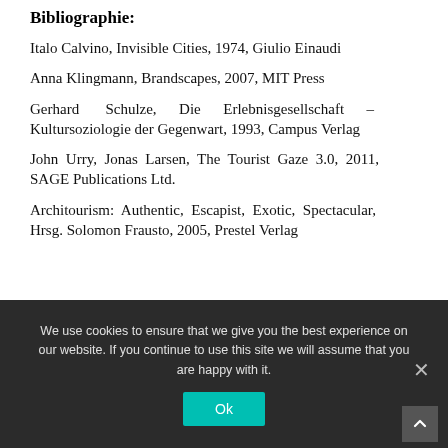Bibliographie:
Italo Calvino, Invisible Cities, 1974, Giulio Einaudi
Anna Klingmann, Brandscapes, 2007, MIT Press
Gerhard Schulze, Die Erlebnisgesellschaft – Kultursoziologie der Gegenwart, 1993, Campus Verlag
John Urry, Jonas Larsen, The Tourist Gaze 3.0, 2011, SAGE Publications Ltd.
Architourism: Authentic, Escapist, Exotic, Spectacular, Hrsg. Solomon Frausto, 2005, Prestel Verlag
We use cookies to ensure that we give you the best experience on our website. If you continue to use this site we will assume that you are happy with it.